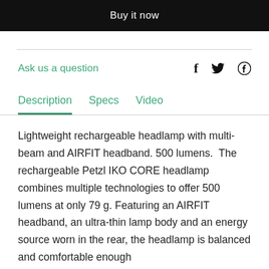Buy it now
Ask us a question
Description   Specs   Video
Lightweight rechargeable headlamp with multi-beam and AIRFIT headband. 500 lumens.  The rechargeable Petzl IKO CORE headlamp combines multiple technologies to offer 500 lumens at only 79 g. Featuring an AIRFIT headband, an ultra-thin lamp body and an energy source worn in the rear, the headlamp is balanced and comfortable enough